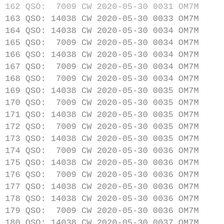162 QSO:  7009 CW 2020-05-30 0031 OM7M
163 QSO: 14038 CW 2020-05-30 0033 OM7M
164 QSO: 14038 CW 2020-05-30 0034 OM7M
165 QSO:  7009 CW 2020-05-30 0034 OM7M
166 QSO: 14038 CW 2020-05-30 0034 OM7M
167 QSO:  7009 CW 2020-05-30 0034 OM7M
168 QSO:  7009 CW 2020-05-30 0034 OM7M
169 QSO: 14038 CW 2020-05-30 0035 OM7M
170 QSO:  7009 CW 2020-05-30 0035 OM7M
171 QSO: 14038 CW 2020-05-30 0035 OM7M
172 QSO:  7009 CW 2020-05-30 0035 OM7M
173 QSO: 14038 CW 2020-05-30 0035 OM7M
174 QSO:  7009 CW 2020-05-30 0036 OM7M
175 QSO: 14038 CW 2020-05-30 0036 OM7M
176 QSO:  7009 CW 2020-05-30 0036 OM7M
177 QSO: 14038 CW 2020-05-30 0036 OM7M
178 QSO: 14038 CW 2020-05-30 0036 OM7M
179 QSO:  7009 CW 2020-05-30 0036 OM7M
180 QSO: 14038 CW 2020-05-30 0037 OM7M
181 QSO:  7009 CW 2020-05-30 0037 OM7M
182 QSO:  7009 CW 2020-05-30 0037 OM7M